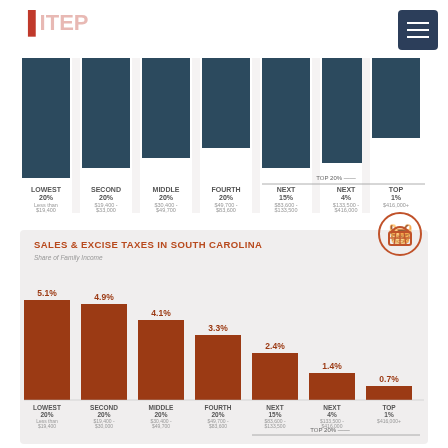[Figure (bar-chart): Partially visible bar chart at top of page showing income group tax distribution]
[Figure (bar-chart): SALES & EXCISE TAXES IN SOUTH CAROLINA]